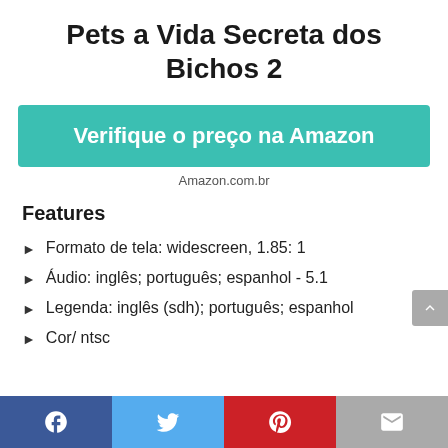Pets a Vida Secreta dos Bichos 2
Verifique o preço na Amazon
Amazon.com.br
Features
Formato de tela: widescreen, 1.85: 1
Áudio: inglês; português; espanhol - 5.1
Legenda: inglês (sdh); português; espanhol
Cor/ ntsc
Facebook | Twitter | Pinterest | Email